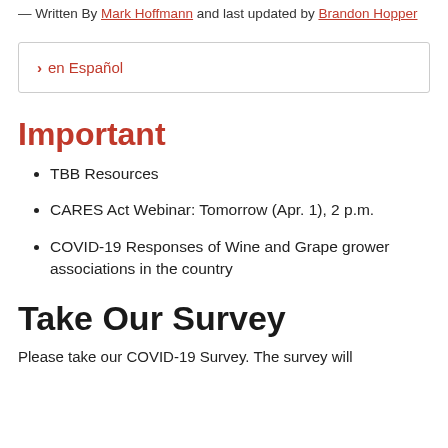— Written By Mark Hoffmann and last updated by Brandon Hopper
> en Español
Important
TBB Resources
CARES Act Webinar: Tomorrow (Apr. 1), 2 p.m.
COVID-19 Responses of Wine and Grape grower associations in the country
Take Our Survey
Please take our COVID-19 Survey. The survey will